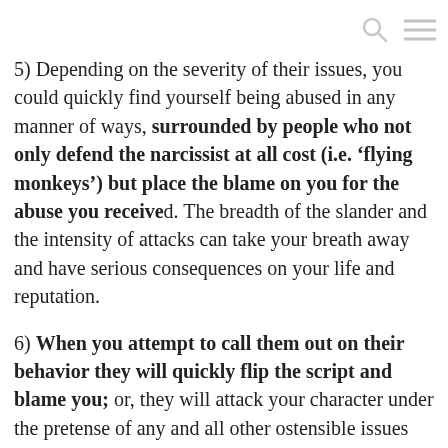[search icon] [menu icon]
5) Depending on the severity of their issues, you could quickly find yourself being abused in any manner of ways, surrounded by people who not only defend the narcissist at all cost (i.e. ‘flying monkeys’) but place the blame on you for the abuse you received. The breadth of the slander and the intensity of attacks can take your breath away and have serious consequences on your life and reputation.
6) When you attempt to call them out on their behavior they will quickly flip the script and blame you; or, they will attack your character under the pretense of any and all other ostensible issues